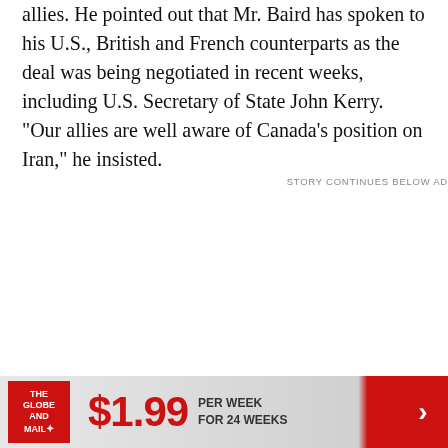allies. He pointed out that Mr. Baird has spoken to his U.S., British and French counterparts as the deal was being negotiated in recent weeks, including U.S. Secretary of State John Kerry. "Our allies are well aware of Canada's position on Iran," he insisted.
STORY CONTINUES BELOW AD
[Figure (other): Advertisement banner for The Globe and Mail: $1.99 per week for 24 weeks, with red Globe and Mail logo on left and red arrow button on right]